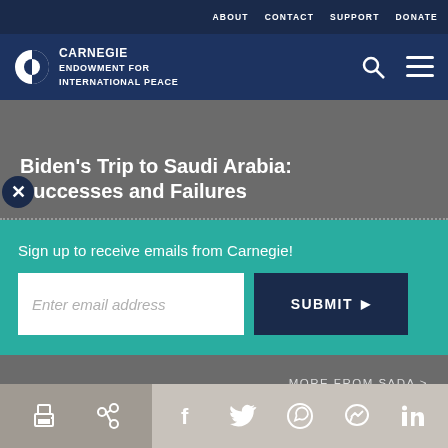ABOUT   CONTACT   SUPPORT   DONATE
[Figure (logo): Carnegie Endowment for International Peace logo with circular icon]
Biden’s Trip to Saudi Arabia: Successes and Failures
Sign up to receive emails from Carnegie!
Enter email address
SUBMIT ▶
MORE FROM SADA >
Share icons: print, link, facebook, twitter, whatsapp, messenger, linkedin